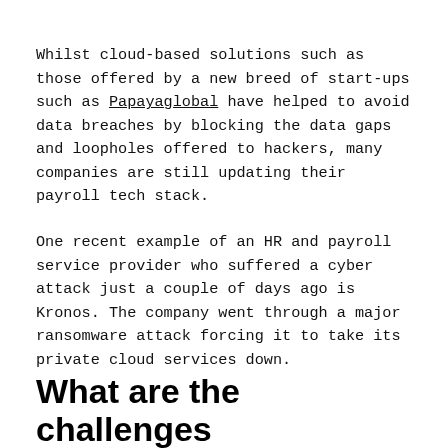Whilst cloud-based solutions such as those offered by a new breed of start-ups such as Papayaglobal have helped to avoid data breaches by blocking the data gaps and loopholes offered to hackers, many companies are still updating their payroll tech stack.
One recent example of an HR and payroll service provider who suffered a cyber attack just a couple of days ago is Kronos. The company went through a major ransomware attack forcing it to take its private cloud services down.
What are the challenges